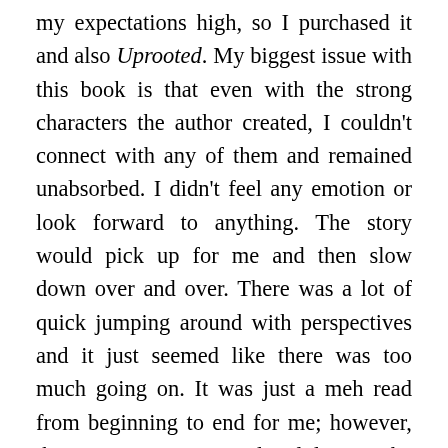my expectations high, so I purchased it and also Uprooted. My biggest issue with this book is that even with the strong characters the author created, I couldn't connect with any of them and remained unabsorbed. I didn't feel any emotion or look forward to anything. The story would pick up for me and then slow down over and over. There was a lot of quick jumping around with perspectives and it just seemed like there was too much going on. It was just a meh read from beginning to end for me; however, the prose was very good. I did enjoy the magical elements and Russian fairytale feel to the story.